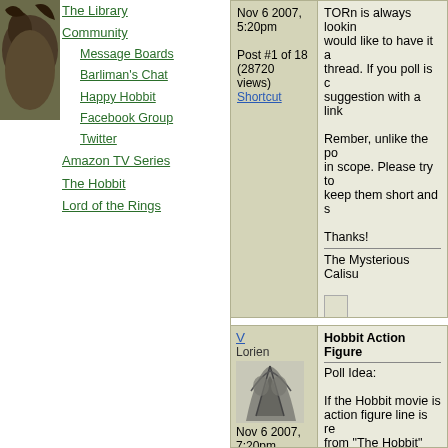[Figure (photo): Avatar image of a dark creature/animal in top-left corner]
The Library
Community
Message Boards
Barliman's Chat
Happy Hobbit
Facebook Group
Twitter
Amazon TV Series
The Hobbit
Lord of the Rings
Nov 6 2007, 5:20pm
Post #1 of 18 (28720 views)
Shortcut
TORn is always looking... would like to have it a... thread. If you poll is ch... suggestion with a link...

Rember, unlike the pol... in scope. Please try to ... keep them short and si...

Thanks!

The Mysterious Calisu...

(This post was edited by A...)
V
Lorien
Nov 6 2007, 7:20pm
Post #2 of 18 (16576 views)
Shortcut
Hobbit Action Figure...

Poll Idea:

If the Hobbit movie is ... action figure line is re... from "The Hobbit" wo...
(young) Bilbo B...
Gandalf the Gr...
Thorin (Hobbit)...